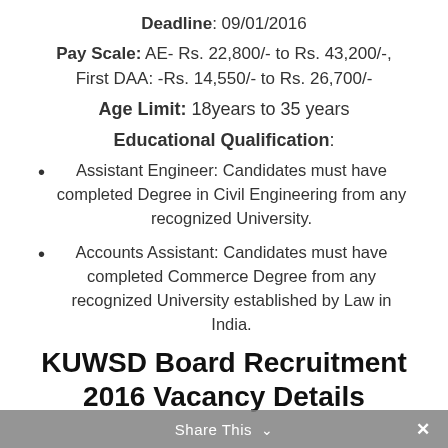Deadline: 09/01/2016
Pay Scale:  AE- Rs. 22,800/- to Rs. 43,200/-, First DAA: -Rs. 14,550/- to Rs. 26,700/-
Age Limit: 18years to 35 years
Educational Qualification:
Assistant Engineer: Candidates must have completed Degree in Civil Engineering from any recognized University.
Accounts Assistant: Candidates must have completed Commerce Degree from any recognized University established by Law in India.
KUWSD Board Recruitment 2016 Vacancy Details
Share This ∨  ×